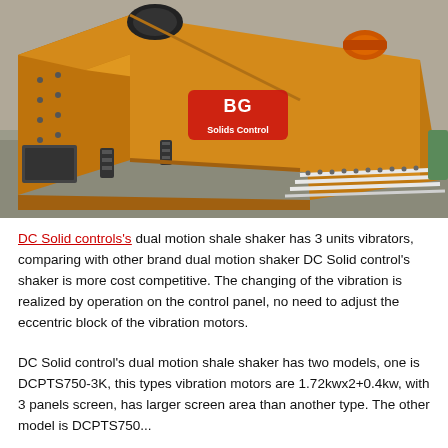[Figure (photo): Industrial dual motion shale shaker machine in orange/yellow color, photographed in a warehouse/factory setting. The machine has a large angled screen deck structure with vibration motors on top, spring isolators, and a control panel. A BG Solids Control logo is visible overlaid on the image.]
DC Solid controls's dual motion shale shaker has 3 units vibrators, comparing with other brand dual motion shaker DC Solid control's shaker is more cost competitive. The changing of the vibration is realized by operation on the control panel, no need to adjust the eccentric block of the vibration motors.
DC Solid control's dual motion shale shaker has two models, one is DCPTS750-3K, this types vibration motors are 1.72kwx2+0.4kw, with 3 panels screen, has larger screen area than another type. The other model is DCPTS750...